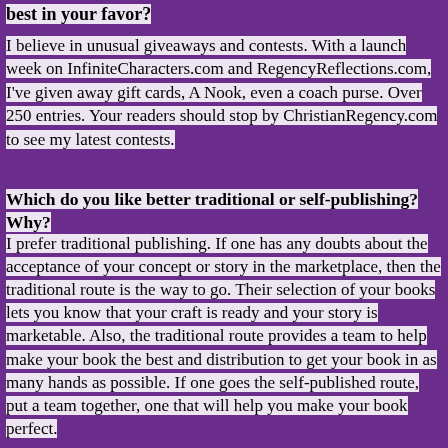best in your favor?
I believe in unusual giveaways and contests. With a launch week on InfiniteCharacters.com and RegencyReflections.com, I've given away gift cards, A Nook, even a coach purse. Over 250 entries. Your readers should stop by ChristianRegency.com to see my latest contests.
Which do you like better traditional or self-publishing? Why?
I prefer traditional publishing. If one has any doubts about the acceptance of your concept or story in the marketplace, then the traditional route is the way to go. Their selection of your books lets you know that your craft is ready and your story is marketable. Also, the traditional route provides a team to help make your book the best and distribution to get your book in as many hands as possible. If one goes the self-published route, put a team together, one that will help you make your book perfect.
What new projects are you working on?
I have two series, I'm developing. One focuses on troubled marriages of a Regency family. Secrets abound which can destroy or liberate the familial bonds. My other project is more light-hearted in which polar opposites fall in love.